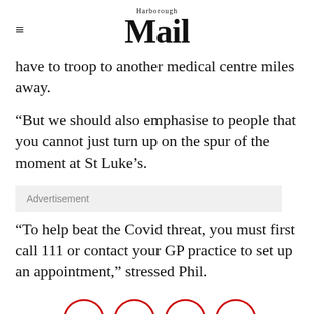Harborough Mail
have to troop to another medical centre miles away.
“But we should also emphasise to people that you cannot just turn up on the spur of the moment at St Luke’s.
Advertisement
“To help beat the Covid threat, you must first call 111 or contact your GP practice to set up an appointment,” stressed Phil.
[Figure (other): Row of partial social media sharing icon circles (red outlines) at bottom of page]